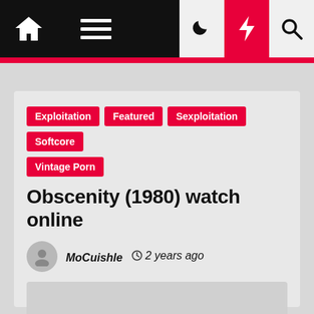Navigation bar with home, menu, moon, lightning, search icons
Exploitation
Featured
Sexploitation
Softcore
Vintage Porn
Obscenity (1980) watch online
MoCuishle  2 years ago
[Figure (other): Video player placeholder with play button on the right side]